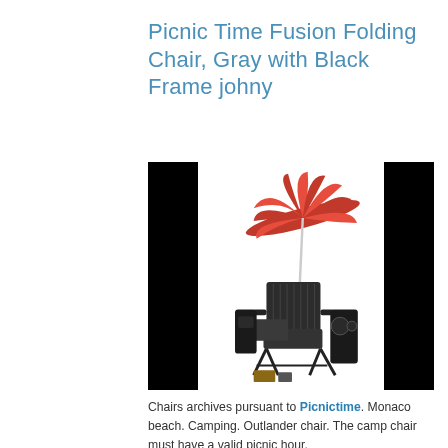Picnic Time Fusion Folding Chair, Gray with Black Frame johny
[Figure (photo): A dark gray/black folding camp chair with a red umbrella attached, side pockets, a small tray table, and additional accessories. Product photo on white background with black borders on left and right.]
Chairs archives pursuant to Picnictime. Monaco beach. Camping. Outlander chair. The camp chair must have a valid picnic hour.